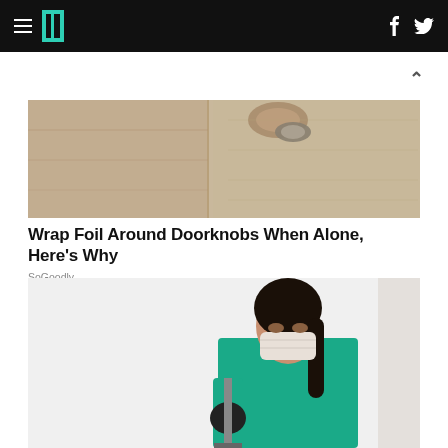HuffPost navigation bar with hamburger menu, logo, Facebook and Twitter icons
[Figure (photo): Close-up photo of a door knob and door panel from below, warm tan/beige tones]
Wrap Foil Around Doorknobs When Alone, Here's Why
SoGoodly
[Figure (photo): Woman wearing green scrubs, black gloves, and a white face mask, holding a mop handle against a white wall]